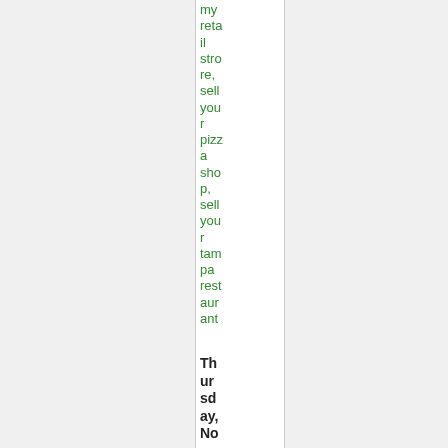my retail strore, sell your pizza shop, sell your tampa restaurant
Thursday, November